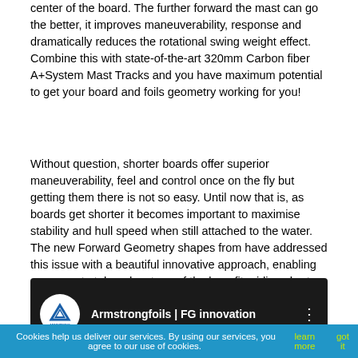center of the board. The further forward the mast can go the better, it improves maneuverability, response and dramatically reduces the rotational swing weight effect. Combine this with state-of-the-art 320mm Carbon fiber A+System Mast Tracks and you have maximum potential to get your board and foils geometry working for you!
Without question, shorter boards offer superior maneuverability, feel and control once on the fly but getting them there is not so easy. Until now that is, as boards get shorter it becomes important to maximise stability and hull speed when still attached to the water. The new Forward Geometry shapes from have addressed this issue with a beautiful innovative approach, enabling everyone to take advantage of the benefits riding shorter boards.
[Figure (screenshot): YouTube video embed showing Armstrongfoils | FG innovation with Armstrong logo on dark background]
Cookies help us deliver our services. By using our services, you agree to our use of cookies. learn more   got it